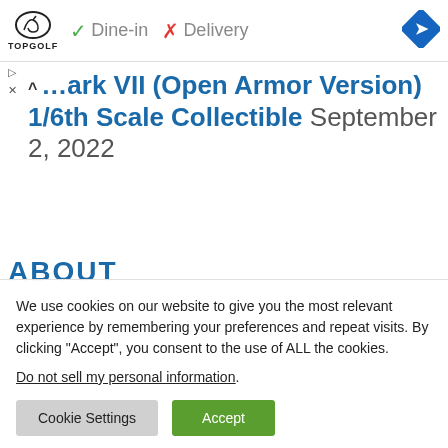[Figure (other): Topgolf advertisement banner with logo, dine-in checkmark, delivery X mark, and navigation icon]
Mark VII (Open Armor Version) 1/6th Scale Collectible September 2, 2022
ABOUT
We use cookies on our website to give you the most relevant experience by remembering your preferences and repeat visits. By clicking “Accept”, you consent to the use of ALL the cookies.
Do not sell my personal information.